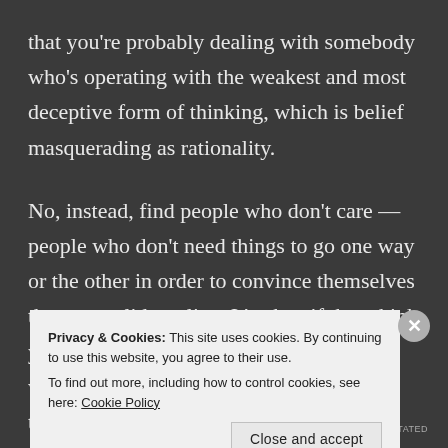that you're probably dealing with somebody who's operating with the weakest and most deceptive form of thinking, which is belief masquerading as rationality.
No, instead, find people who don't care — people who don't need things to go one way or the other in order to convince themselves they are valid or alive. It's okay if they think your ideas are cool, big, inspiring, whatever… but ultimately you don't want them invested in whether your
Privacy & Cookies: This site uses cookies. By continuing to use this website, you agree to their use.
To find out more, including how to control cookies, see here: Cookie Policy